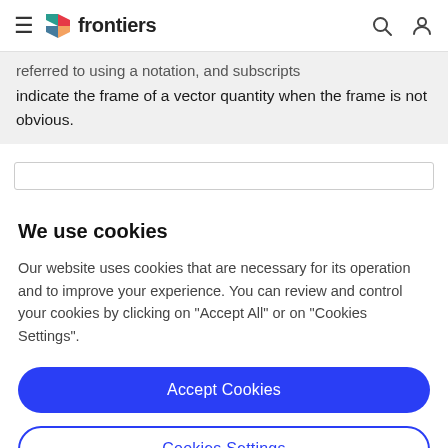frontiers
referred to using a notation, and subscripts indicate the frame of a vector quantity when the frame is not obvious.
We use cookies
Our website uses cookies that are necessary for its operation and to improve your experience. You can review and control your cookies by clicking on "Accept All" or on "Cookies Settings".
Accept Cookies
Cookies Settings